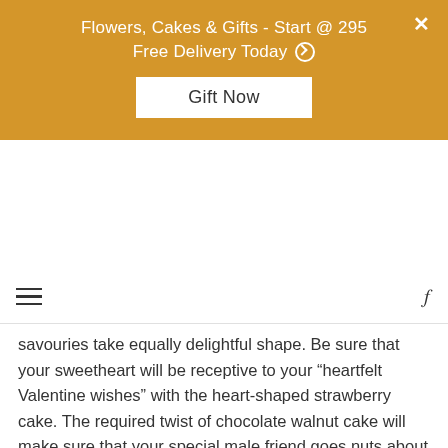[Figure (screenshot): Golden/amber banner advertisement: 'Flowers, Cakes & Gifts - Start @ 295 / Free Delivery Today' with a 'Gift Now' button and an X close button in the top right.]
savouries take equally delightful shape. Be sure that your sweetheart will be receptive to your “heartfelt Valentine wishes” with the heart-shaped strawberry cake. The required twist of chocolate walnut cake will make sure that your special male friend goes nuts about you.
The eggless chocolate cake is a sure way to steal a heart away. For your precious lady love the different flavours of chocolate cake whether truffle or black-forest will be the perfect midnight surprise.